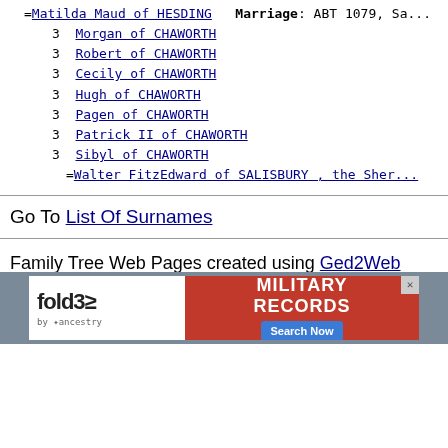=Matilda Maud of HESDING   Marriage: ABT 1079, Sa...
3  Morgan of CHAWORTH
3  Robert of CHAWORTH
3  Cecily of CHAWORTH
3  Hugh of CHAWORTH
3  Pagen of CHAWORTH
3  Patrick II of CHAWORTH
3  Sibyl of CHAWORTH
=Walter FitzEdward of SALISBURY , the Sher...
Go To List Of Surnames
Family Tree Web Pages created using Ged2Web Version 3.37 (Unregistered Version)
[Figure (infographic): Advertisement banner for fold3 Military Records by Ancestry with Search Now button]